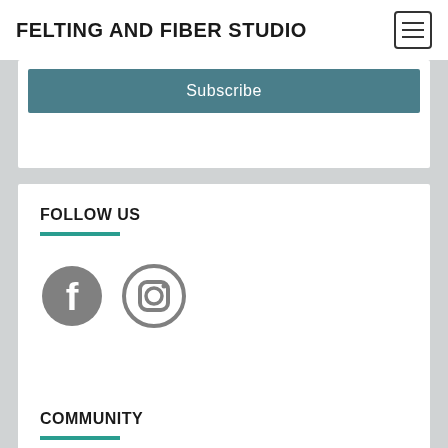FELTING AND FIBER STUDIO
Subscribe
FOLLOW US
[Figure (logo): Facebook circular grey logo icon]
[Figure (logo): Instagram circular grey logo icon]
COMMUNITY